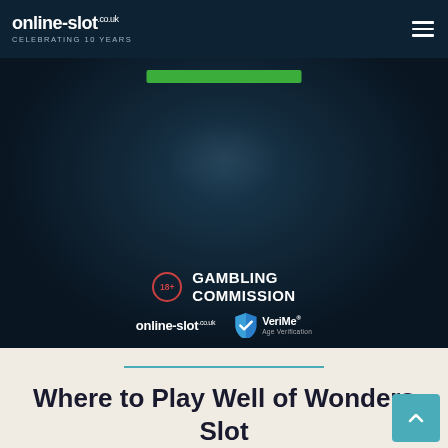online-slot.co.uk CELEBRATING 10 YEARS
[Figure (screenshot): Dark gaming scene with green progress bar at top, Gambling Commission logo with 18+ age restriction circle, online-slot.co.uk logo and VeriMe Age Verification badge at the bottom]
Where to Play Well of Wonders Slot